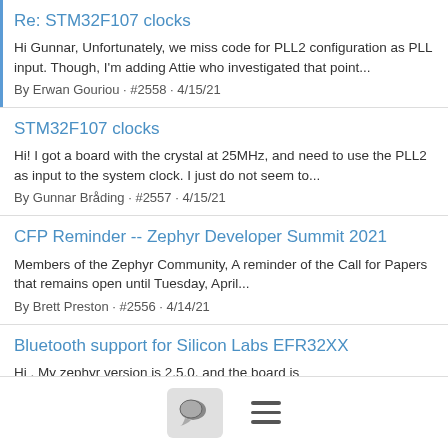Re: STM32F107 clocks
Hi Gunnar, Unfortunately, we miss code for PLL2 configuration as PLL input. Though, I'm adding Attie who investigated that point...
By Erwan Gouriou · #2558 · 4/15/21
STM32F107 clocks
Hi! I got a board with the crystal at 25MHz, and need to use the PLL2 as input to the system clock. I just do not seem to...
By Gunnar Bråding · #2557 · 4/15/21
CFP Reminder -- Zephyr Developer Summit 2021
Members of the Zephyr Community, A reminder of the Call for Papers that remains open until Tuesday, April...
By Brett Preston · #2556 · 4/14/21
Bluetooth support for Silicon Labs EFR32XX
Hi , My zephyr version is 2.5.0, and the board is EFR32_radio_brd4180a from Silicon Labs. When I try to...
By chzfmx@163.com <chzfmx@...> · #2555 · 4/14/21